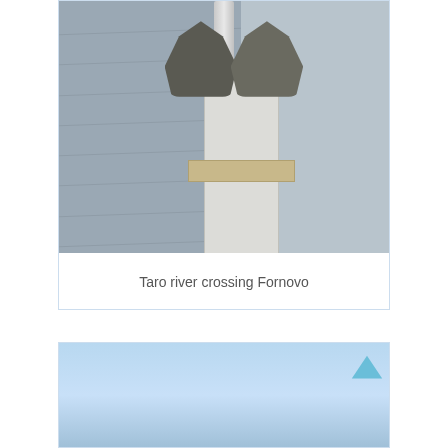[Figure (photo): Photograph of a marble pedestal with two bronze/dark statues on top, situated on a bridge railing. The bridge deck is paved with dark stone tiles on the left and lighter concrete on the right. A metal guardrail pole is visible.]
Taro river crossing Fornovo
[Figure (photo): Partially visible photograph showing a pale blue sky, likely another view of the Taro river crossing Fornovo site.]